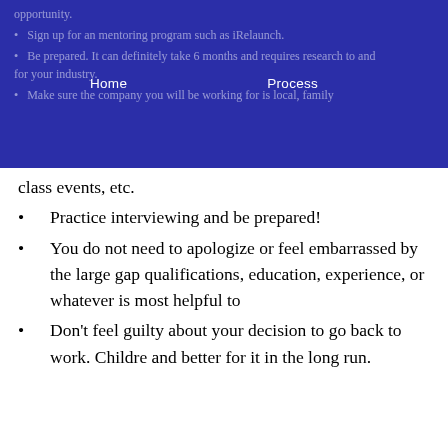Home    Process
opportunity.
Sign up for an mentoring program such as iRelaunch.
Be prepared. It can definitely take 6 months and requires research for your industry.
Make sure the company you will be working for is local, family class events, etc.
Practice interviewing and be prepared!
You do not need to apologize or feel embarrassed by the large gap. qualifications, education, experience, or whatever is most helpful to
Don't feel guilty about your decision to go back to work. Children and better for it in the long run.